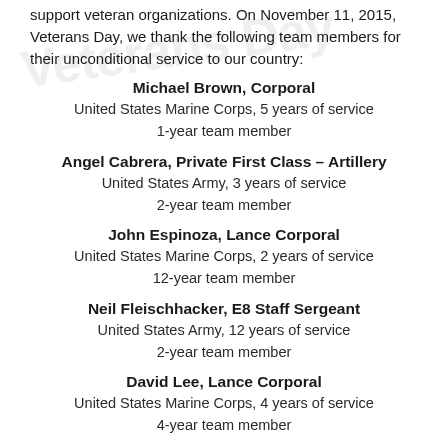support veteran organizations. On November 11, 2015, Veterans Day, we thank the following team members for their unconditional service to our country:
Michael Brown, Corporal
United States Marine Corps, 5 years of service
1-year team member
Angel Cabrera, Private First Class – Artillery
United States Army, 3 years of service
2-year team member
John Espinoza, Lance Corporal
United States Marine Corps, 2 years of service
12-year team member
Neil Fleischhacker, E8 Staff Sergeant
United States Army, 12 years of service
2-year team member
David Lee, Lance Corporal
United States Marine Corps, 4 years of service
4-year team member